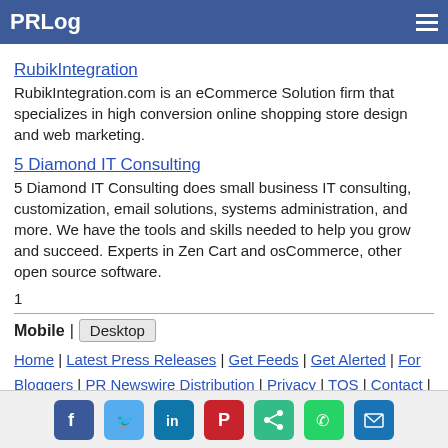PRLog
RubikIntegration
RubikIntegration.com is an eCommerce Solution firm that specializes in high conversion online shopping store design and web marketing.
5 Diamond IT Consulting
5 Diamond IT Consulting does small business IT consulting, customization, email solutions, systems administration, and more. We have the tools and skills needed to help you grow and succeed. Experts in Zen Cart and osCommerce, other open source software.
1
Mobile | Desktop
Home | Latest Press Releases | Get Feeds | Get Alerted | For Bloggers | PR Newswire Distribution | Privacy | TOS | Contact | Copyright | About